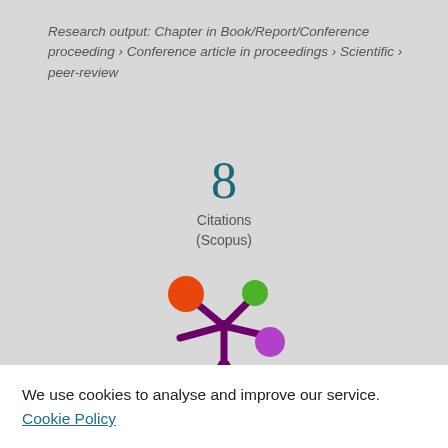Research output: Chapter in Book/Report/Conference proceeding › Conference article in proceedings › Scientific › peer-review
8 Citations (Scopus)
[Figure (logo): Altmetric logo mark — colorful splat/asterisk shape with orange, green, and purple circles]
We use cookies to analyse and improve our service. Cookie Policy